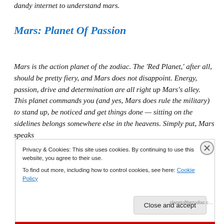dandy internet to understand mars.
Mars: Planet Of Passion
Mars is the action planet of the zodiac. The ‘Red Planet,’ after all, should be pretty fiery, and Mars does not disappoint. Energy, passion, drive and determination are all right up Mars’s alley. This planet commands you (and yes, Mars does rule the military) to stand up, be noticed and get things done — sitting on the sidelines belongs somewhere else in the heavens. Simply put, Mars speaks
Privacy & Cookies: This site uses cookies. By continuing to use this website, you agree to their use.
To find out more, including how to control cookies, see here: Cookie Policy
Close and accept